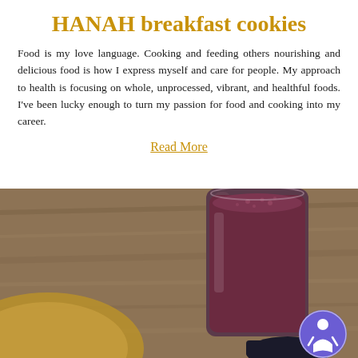HANAH breakfast cookies
Food is my love language. Cooking and feeding others nourishing and delicious food is how I express myself and care for people. My approach to health is focusing on whole, unprocessed, vibrant, and healthful foods. I've been lucky enough to turn my passion for food and cooking into my career.
Read More
[Figure (photo): A tall glass filled with a dark purple/red smoothie drink, sitting on a wooden surface. A dark round object (possibly a supplement container) is visible in the lower right. A purple circular accessibility badge with a person icon is overlaid in the bottom right corner.]